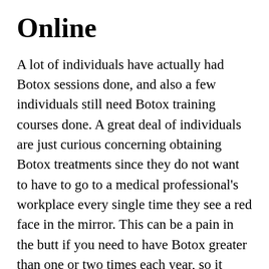Online
A lot of individuals have actually had Botox sessions done, and also a few individuals still need Botox training courses done. A great deal of individuals are just curious concerning obtaining Botox treatments since they do not want to have to go to a medical professional's workplace every single time they see a red face in the mirror. This can be a pain in the butt if you need to have Botox greater than one or two times each year, so it makes good sense to look into this alternative.